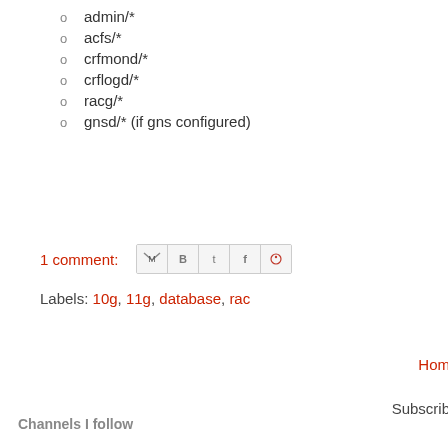admin/*
acfs/*
crfmond/*
crflogd/*
racg/*
gnsd/* (if gns configured)
1 comment:
Labels: 10g, 11g, database, rac
Hom
Subscrib
Channels I follow